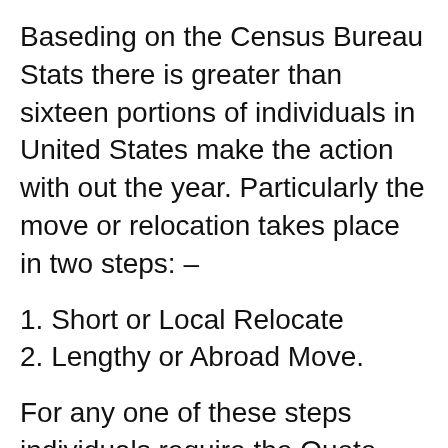Baseding on the Census Bureau Stats there is greater than sixteen portions of individuals in United States make the action with out the year. Particularly the move or relocation takes place in two steps: –
1. Short or Local Relocate
2. Lengthy or Abroad Move.
For any one of these steps individuals require the Quote from Regional Relocating Firms Service providers. We take the satisfaction and also diligence to supply individuals with the downright Free Quote as early as we hear develop them. Temporary move is thought about as regarding 6 hrs or 360 miles of trip with in the city or state around the beginning